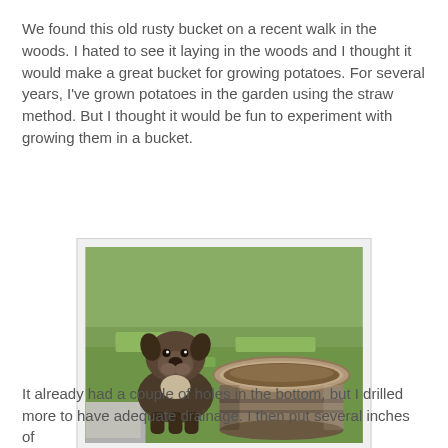We found this old rusty bucket on a recent walk in the woods. I hated to see it laying in the woods and I thought it would make a great bucket for growing potatoes. For several years, I've grown potatoes in the garden using the straw method. But I thought it would be fun to experiment with growing them in a bucket.
[Figure (photo): A bulldog sitting on green grass next to a large rusty galvanized metal tub/bucket filled with dirt.]
It already had a couple of holes in the bottom, but I drilled more to have adequate drainage. I then put several inches of